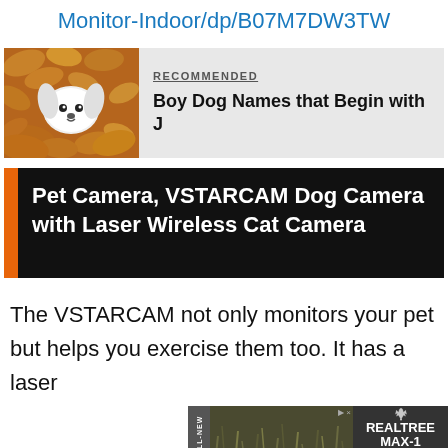Monitor-Indoor/dp/B07M7DW3TW
[Figure (photo): Small white fluffy dog peeking out from autumn leaves]
RECOMMENDED
Boy Dog Names that Begin with J
Pet Camera, VSTARCAM Dog Camera with Laser Wireless Cat Camera
The VSTARCAM not only monitors your pet but helps you exercise them too. It has a laser
[Figure (photo): Advertisement banner: ALL-NEW Realtree MAX-1 LEARN MORE]